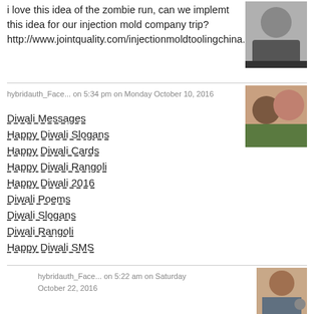i love this idea of the zombie run, can we implemt this idea for our injection mold company trip? http://www.jointquality.com/injectionmoldtoolingchina.html
[Figure (photo): Profile photo of a man in a black shirt]
hybridauth_Face... on 5:34 pm on Monday October 10, 2016
[Figure (photo): Profile photo of a woman and child]
Diwali Messages
Happy Diwali Slogans
Happy Diwali Cards
Happy Diwali Rangoli
Happy Diwali 2016
Diwali Poems
Diwali Slogans
Diwali Rangoli
Happy Diwali SMS
hybridauth_Face... on 5:22 am on Saturday October 22, 2016
[Figure (photo): Profile photo of a young man]